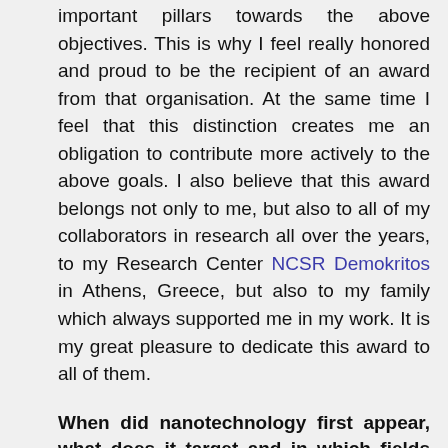important pillars towards the above objectives. This is why I feel really honored and proud to be the recipient of an award from that organisation. At the same time I feel that this distinction creates me an obligation to contribute more actively to the above goals. I also believe that this award belongs not only to me, but also to all of my collaborators in research all over the years, to my Research Center NCSR Demokritos in Athens, Greece, but also to my family which always supported me in my work. It is my great pleasure to dedicate this award to all of them.
When did nanotechnology first appear, what does it target and in which fields could it be applied?
The field of Nanoscience and Nanotechnology is a very fast growing cutting-edge field, starting from the early 1990s, with novel applications in all fields of life. It emerged as an expansion of Microelectronics and